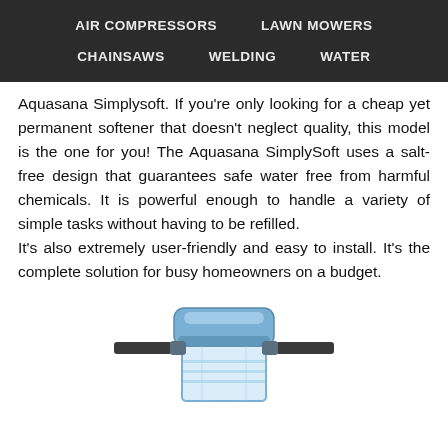AIR COMPRESSORS   LAWN MOWERS   CHAINSAWS   WELDING   WATER
Aquasana Simplysoft. If you're only looking for a cheap yet permanent softener that doesn't neglect quality, this model is the one for you! The Aquasana SimplySoft uses a salt-free design that guarantees safe water free from harmful chemicals. It is powerful enough to handle a variety of simple tasks without having to be refilled. It's also extremely user-friendly and easy to install. It's the complete solution for busy homeowners on a budget.
[Figure (photo): Water filter/softener device — a cylindrical transparent canister with blue top housing and two horizontal black pipe connectors on each side.]